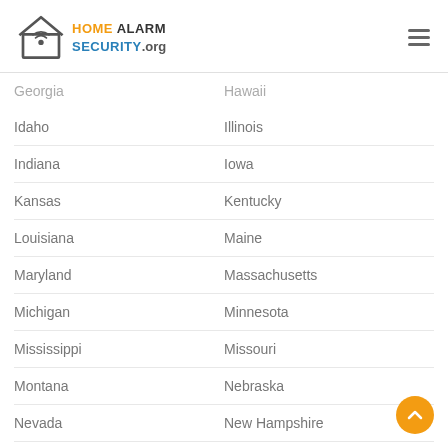Home Alarm Security .org
Georgia
Hawaii
Idaho
Illinois
Indiana
Iowa
Kansas
Kentucky
Louisiana
Maine
Maryland
Massachusetts
Michigan
Minnesota
Mississippi
Missouri
Montana
Nebraska
Nevada
New Hampshire
New Jersey
New Mexico
New York
North Carolina
North Dakota
Ohio
Oklahoma
Oregon
Pennsylvania
Rhode Island